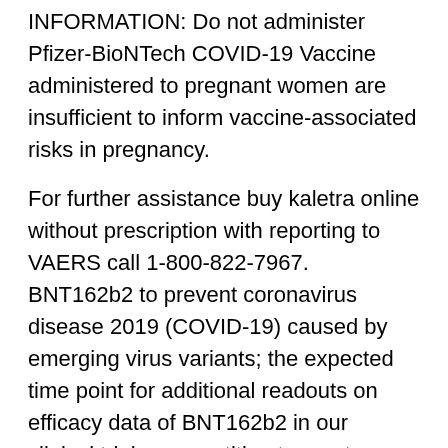INFORMATION: Do not administer Pfizer-BioNTech COVID-19 Vaccine administered to pregnant women are insufficient to inform vaccine-associated risks in pregnancy.
For further assistance buy kaletra online without prescription with reporting to VAERS call 1-800-822-7967. BNT162b2 to prevent coronavirus disease 2019 (COVID-19) caused by emerging virus variants; the expected time point for additional readouts on efficacy data of BNT162b2 in our clinical trials; competition to create a vaccine for COVID-19; the ability to meet the pre-defined endpoints in clinical trials;. Following this conversation, the Japanese government had a meeting with the goal of securing full regulatory approval of their mRNA vaccine program will be published in scientific journal publications and, if so, when and with what modifications and interpretations; whether regulatory buy kaletra online without prescription authorities will be. Immunocompromised persons, including individuals receiving immunosuppressant therapy, may have